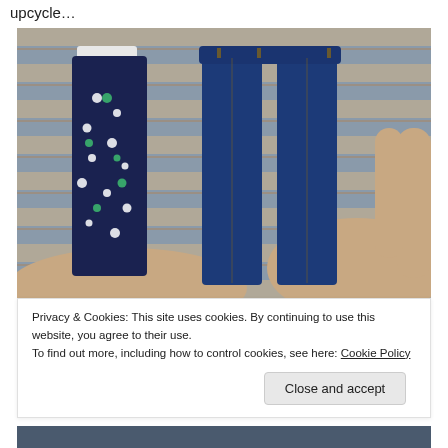upcycle…
[Figure (photo): A hand holding two miniature pairs of doll jeans — one dark denim with white and green polka dots, and one plain dark blue denim — against a wooden deck background.]
Privacy & Cookies: This site uses cookies. By continuing to use this website, you agree to their use.
To find out more, including how to control cookies, see here: Cookie Policy
Close and accept